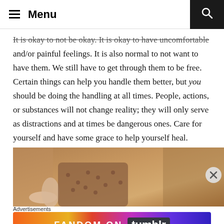Menu
It is okay to not be okay. It is okay to have uncomfortable and/or painful feelings. It is also normal to not want to have them. We still have to get through them to be free. Certain things can help you handle them better, but you should be doing the handling at all times. People, actions, or substances will not change reality; they will only serve as distractions and at times be dangerous ones. Care for yourself and have some grace to help yourself heal.
[Figure (photo): Person lying on wooden floor, partially visible legs and patterned clothing]
Advertisements
[Figure (infographic): FANDOM ON tumblr advertisement banner with colorful gradient background]